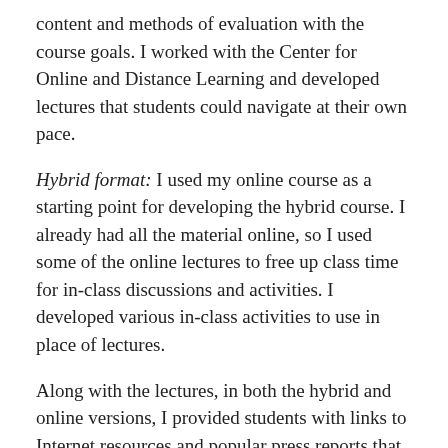content and methods of evaluation with the course goals. I worked with the Center for Online and Distance Learning and developed lectures that students could navigate at their own pace.
Hybrid format: I used my online course as a starting point for developing the hybrid course. I already had all the material online, so I used some of the online lectures to free up class time for in-class discussions and activities. I developed various in-class activities to use in place of lectures.
Along with the lectures, in both the hybrid and online versions, I provided students with links to Internet resources and popular press reports that focused on some of the course concepts. My grading system for both versions of the course was based on two areas of work: Mastery of concepts and Effort on the coursework. I measured Mastery of concepts using